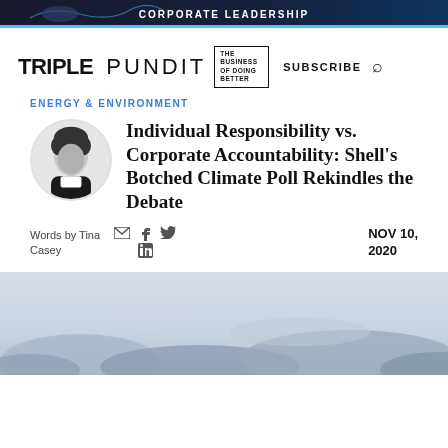[Figure (photo): Dark blue banner advertisement with text CORPORATE LEADERSHIP and decorative wave/bird silhouette]
TRIPLE PUNDIT { THE BUSINESS OF DOING BETTER } SUBSCRIBE
ENERGY & ENVIRONMENT
Individual Responsibility vs. Corporate Accountability: Shell's Botched Climate Poll Rekindles the Debate
Words by Tina Casey
NOV 10, 2020
[Figure (photo): Sky with clouds, black and white or desaturated, wide landscape photo]